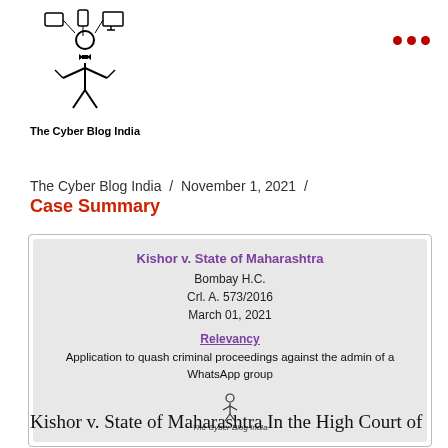[Figure (logo): The Cyber Blog India logo: a stick figure person with devices around them, with text 'The Cyber Blog India' below]
The Cyber Blog India / November 1, 2021 /
Case Summary
[Figure (infographic): Case summary card showing: Kishor v. State of Maharashtra, Bombay H.C., Crl. A. 573/2016, March 01, 2021. Relevancy: Application to quash criminal proceedings against the admin of a WhatsApp group. The Cyber Blog India logo at bottom.]
Kishor v. State of Maharashtra In the High Court of